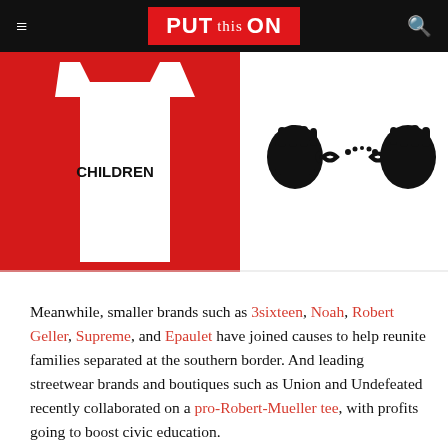PUT this ON
[Figure (photo): Two-panel image: left panel shows a white t-shirt on a red background with bold text 'CHILDREN'; right panel shows a close-up of two fists breaking apart handcuffs/chains on a white background.]
Meanwhile, smaller brands such as 3sixteen, Noah, Robert Geller, Supreme, and Epaulet have joined causes to help reunite families separated at the southern border. And leading streetwear brands and boutiques such as Union and Undefeated recently collaborated on a pro-Robert-Mueller tee, with profits going to boost civic education.